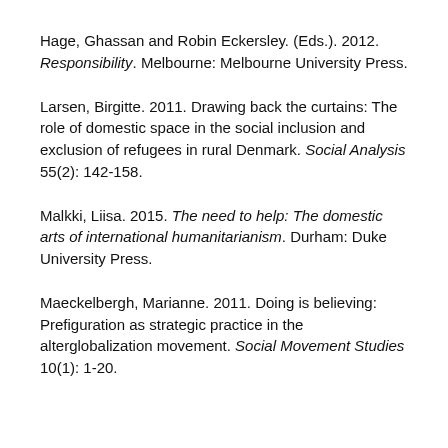Hage, Ghassan and Robin Eckersley. (Eds.). 2012. Responsibility. Melbourne: Melbourne University Press.
Larsen, Birgitte. 2011. Drawing back the curtains: The role of domestic space in the social inclusion and exclusion of refugees in rural Denmark. Social Analysis 55(2): 142-158.
Malkki, Liisa. 2015. The need to help: The domestic arts of international humanitarianism. Durham: Duke University Press.
Maeckelbergh, Marianne. 2011. Doing is believing: Prefiguration as strategic practice in the alterglobalization movement. Social Movement Studies 10(1): 1-20.